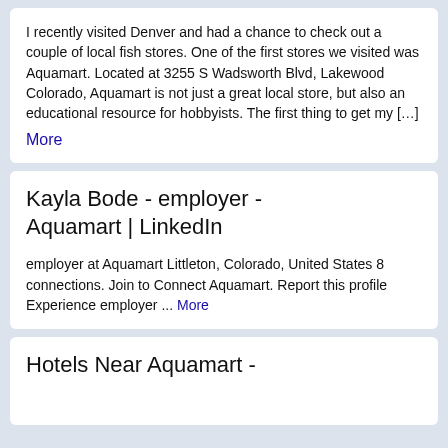I recently visited Denver and had a chance to check out a couple of local fish stores. One of the first stores we visited was Aquamart. Located at 3255 S Wadsworth Blvd, Lakewood Colorado, Aquamart is not just a great local store, but also an educational resource for hobbyists. The first thing to get my […] More
Kayla Bode - employer - Aquamart | LinkedIn
employer at Aquamart Littleton, Colorado, United States 8 connections. Join to Connect Aquamart. Report this profile Experience employer ... More
Hotels Near Aquamart -